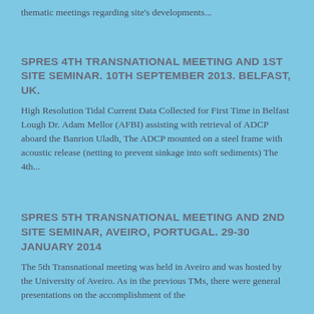thematic meetings regarding site's developments...
SPRES 4TH TRANSNATIONAL MEETING AND 1ST SITE SEMINAR. 10TH SEPTEMBER 2013. BELFAST, UK.
High Resolution Tidal Current Data Collected for First Time in Belfast Lough Dr. Adam Mellor (AFBI) assisting with retrieval of ADCP aboard the Banrion Uladh, The ADCP mounted on a steel frame with acoustic release (netting to prevent sinkage into soft sediments) The 4th...
SPRES 5TH TRANSNATIONAL MEETING AND 2ND SITE SEMINAR, AVEIRO, PORTUGAL. 29-30 JANUARY 2014
The 5th Transnational meeting was held in Aveiro and was hosted by the University of Aveiro. As in the previous TMs, there were general presentations on the accomplishment of the